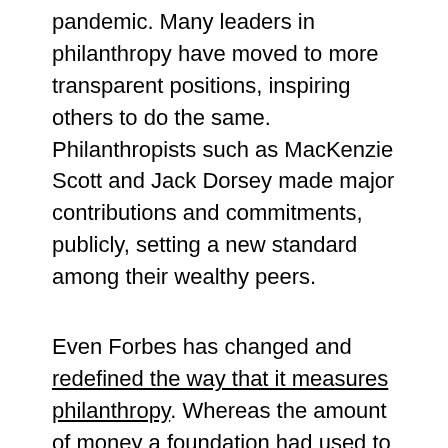pandemic. Many leaders in philanthropy have moved to more transparent positions, inspiring others to do the same. Philanthropists such as MacKenzie Scott and Jack Dorsey made major contributions and commitments, publicly, setting a new standard among their wealthy peers.
Even Forbes has changed and redefined the way that it measures philanthropy. Whereas the amount of money a foundation had used to be used to measure the organization's charitable acts, now Forbes is focused on judging the actual amount of giving that takes place. Other companies will surely follow suit, helping to make philanthropic acts happen faster and have a further impact.